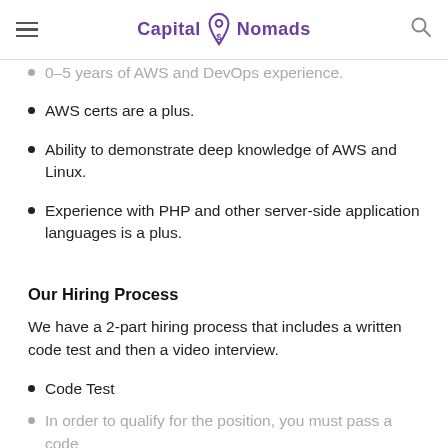Capital Nomads
0–5 years of AWS and DevOps experience.
AWS certs are a plus.
Ability to demonstrate deep knowledge of AWS and Linux.
Experience with PHP and other server-side application languages is a plus.
Our Hiring Process
We have a 2-part hiring process that includes a written code test and then a video interview.
Code Test
In order to qualify for the position, you must pass a code...